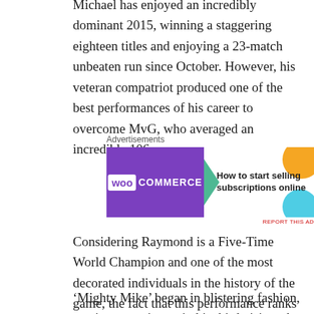Michael has enjoyed an incredibly dominant 2015, winning a staggering eighteen titles and enjoying a 23-match unbeaten run since October. However, his veteran compatriot produced one of the best performances of his career to overcome MvG, who averaged an incredible 106.
[Figure (other): WooCommerce advertisement banner: purple left side with WooCommerce logo and green arrow, right side with 'How to start selling subscriptions online' text and orange/blue decorative circles.]
Considering Raymond is a Five-Time World Champion and one of the most decorated individuals in the history of the game, the fact that this performance ranks so highly on his all-time list, illustrates just how superbly he performed.
‘Mighty Mike’ began in blistering fashion, posting a maximum in his third visit to the board, and sealing an